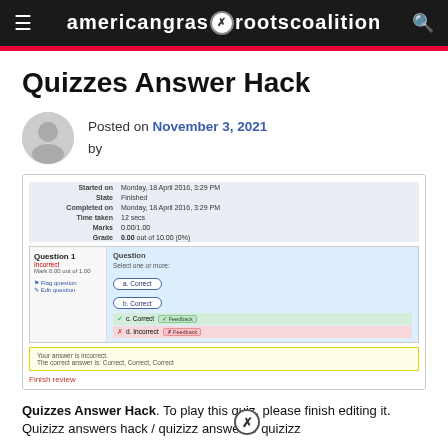americangrassrootscoalition
Quizzes Answer Hack
Posted on November 3, 2021 by
[Figure (screenshot): Screenshot of a quiz attempt showing quiz metadata (Started on, State, Completed on, Time taken, Marks, Grade) and a Question 1 review panel with correct/incorrect answer options and feedback labels. A 'Finish review' link is shown at the bottom.]
Quizzes Answer Hack. To play this quiz, please finish editing it. Quizizz answers hack / quizizz answers / quizizz